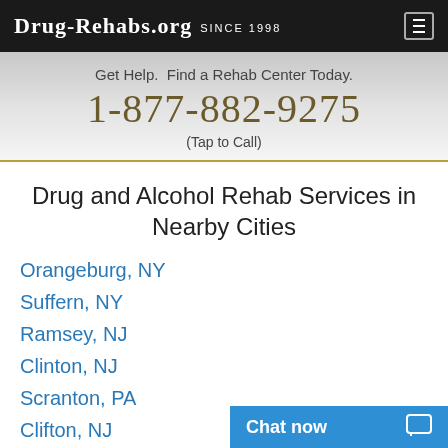Drug-Rehabs.org Since 1998
Get Help. Find a Rehab Center Today. 1-877-882-9275 (Tap to Call)
Drug and Alcohol Rehab Services in Nearby Cities
Orangeburg, NY
Suffern, NY
Ramsey, NJ
Clinton, NJ
Scranton, PA
Clifton, NJ
Ridgewood, NJ
Spring Valley, NY
Washington, NJ
Chat now